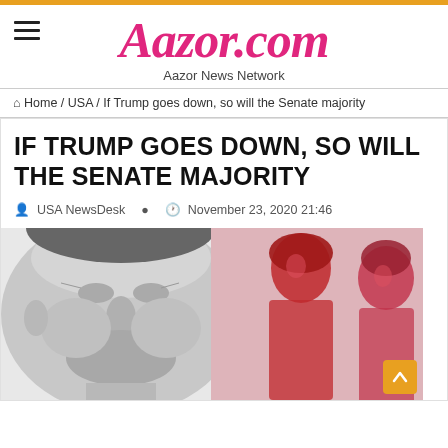Aazor.com — Aazor News Network
Home / USA / If Trump goes down, so will the Senate majority
IF TRUMP GOES DOWN, SO WILL THE SENATE MAJORITY
USA NewsDesk   November 23, 2020 21:46
[Figure (photo): Composite image: black-and-white close-up of an older man's face on the left; on the right, two figures rendered in red/pink tones against a light background — a woman with long hair and a man smiling.]